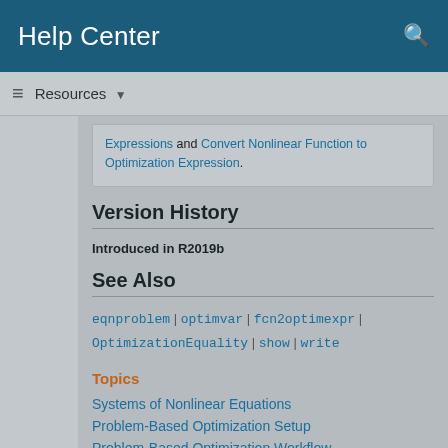Help Center
Resources ▼
Expressions and Convert Nonlinear Function to Optimization Expression.
Version History
Introduced in R2019b
See Also
eqnproblem | optimvar | fcn2optimexpr | OptimizationEquality | show | write
Topics
Systems of Nonlinear Equations
Problem-Based Optimization Setup
Problem-Based Optimization Workflow